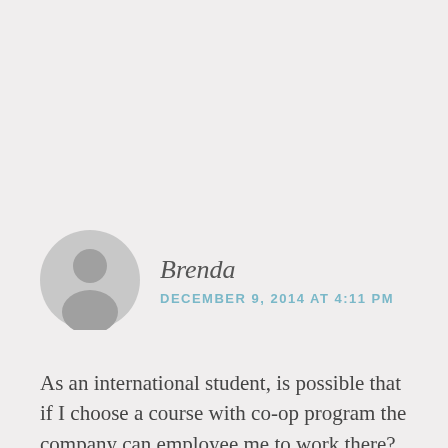[Figure (illustration): Gray circular avatar icon with silhouette of a person]
Brenda
DECEMBER 9, 2014 AT 4:11 PM
As an international student, is possible that if I choose a course with co-op program the company can employee me to work there?
Privacy & Cookies: This site uses cookies. By continuing to use this website, you agree to their use.
To find out more, including how to control cookies, see here: Cookie Policy
Close and accept